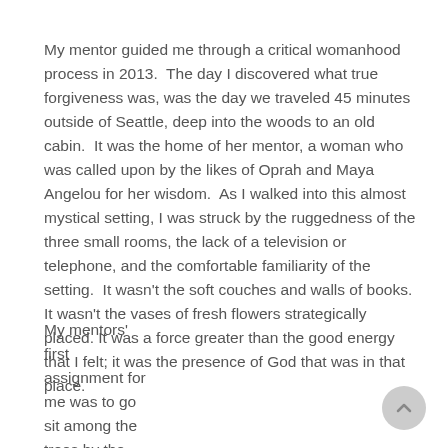My mentor guided me through a critical womanhood process in 2013.  The day I discovered what true forgiveness was, was the day we traveled 45 minutes outside of Seattle, deep into the woods to an old cabin.  It was the home of her mentor, a woman who was called upon by the likes of Oprah and Maya Angelou for her wisdom.  As I walked into this almost mystical setting, I was struck by the ruggedness of the three small rooms, the lack of a television or telephone, and the comfortable familiarity of the setting.  It wasn't the soft couches and walls of books. It wasn't the vases of fresh flowers strategically placed. It was a force greater than the good energy that I felt; it was the presence of God that was in that place.
My mentors' first assignment for me was to go sit among the trees by the lake that the